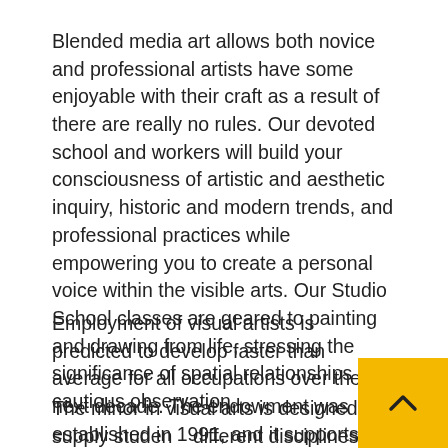Blended media art allows both novice and professional artists have some enjoyable with their craft as a result of there are really no rules. Our devoted school and workers will build your consciousness of artistic and aesthetic inquiry, historic and modern trends, and professional practices while empowering you to create a personal voice within the visible arts. Our Studio School classes are geared to painting and drawing from life, stressing the significance of spatial relationships and cautious observation.
Employment of visual artists is predicted to develop faster than average for all occupations over the next decade. The endowment was established in 1991, and it supports the arts and humanities, significantly visual arts, crafts, theater and the Louisville Free Public Library.
The minor in visual arts is designed to supply students different disciplines with an understanding of visible arts processes, points, and skills. Right now, the time period